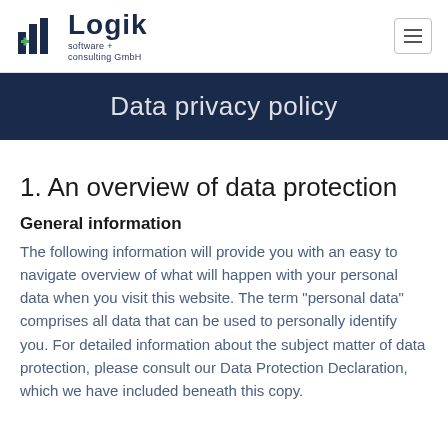Logik software + consulting GmbH
Data privacy policy
1. An overview of data protection
General information
The following information will provide you with an easy to navigate overview of what will happen with your personal data when you visit this website. The term “personal data” comprises all data that can be used to personally identify you. For detailed information about the subject matter of data protection, please consult our Data Protection Declaration, which we have included beneath this copy.